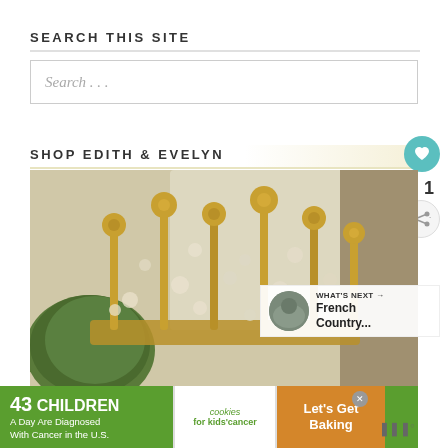SEARCH THIS SITE
Search . . .
SHOP EDITH & EVELYN
[Figure (photo): Close-up photo of an ornate brass crown decorated with flowers and crystals, with a green moss ball in the background]
WHAT'S NEXT → French Country...
1
[Figure (infographic): Advertisement banner: 43 CHILDREN A Day Are Diagnosed With Cancer in the U.S. — cookies for kids cancer — Let's Get Baking]